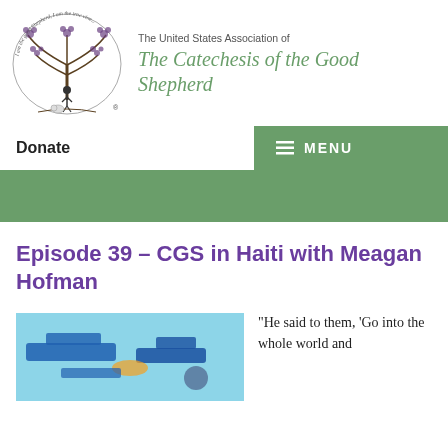[Figure (logo): Circular illustration of the Good Shepherd with a tree, grapes, and a shepherd figure, with cursive text around the border]
The United States Association of The Catechesis of the Good Shepherd
Donate
MENU
Episode 39 – CGS in Haiti with Meagan Hofman
[Figure (photo): Blue objects, possibly Montessori or CGS materials, photographed from above]
“He said to them, ‘Go into the whole world and